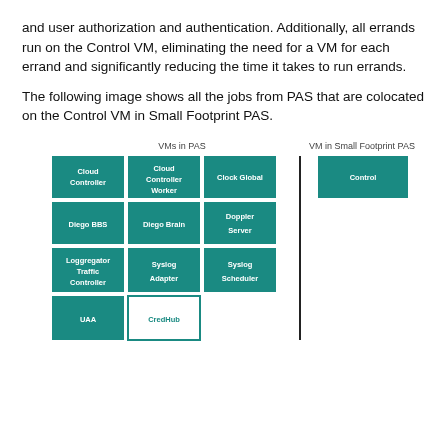and user authorization and authentication. Additionally, all errands run on the Control VM, eliminating the need for a VM for each errand and significantly reducing the time it takes to run errands.
The following image shows all the jobs from PAS that are colocated on the Control VM in Small Footprint PAS.
[Figure (infographic): Diagram showing VMs in PAS (Cloud Controller, Cloud Controller Worker, Clock Global, Diego BBS, Diego Brain, Doppler Server, Loggregator Traffic Controller, Syslog Adapter, Syslog Scheduler, UAA, CredHub) mapped to VM in Small Footprint PAS (Control), with a vertical dividing line between the two groups.]